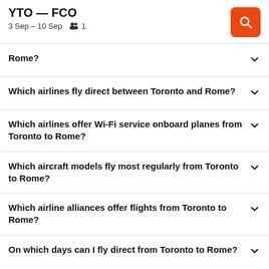YTO — FCO
3 Sep – 10 Sep   👥 1
Which airlines fly direct between Toronto and Rome?
Which airlines offer Wi-Fi service onboard planes from Toronto to Rome?
Which aircraft models fly most regularly from Toronto to Rome?
Which airline alliances offer flights from Toronto to Rome?
On which days can I fly direct from Toronto to Rome?